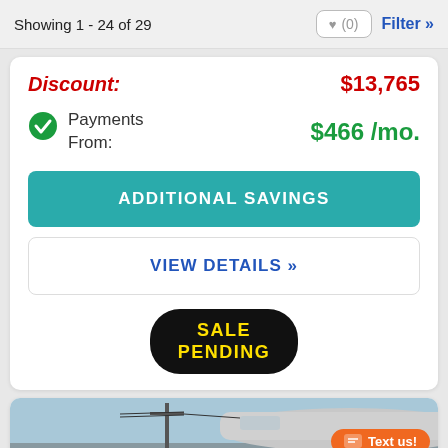Showing 1 - 24 of 29
Discount: $13,765
Payments From: $466 /mo.
ADDITIONAL SAVINGS
VIEW DETAILS »
SALE PENDING
[Figure (photo): Partial view of an RV/travel trailer against a blue sky with utility poles in background]